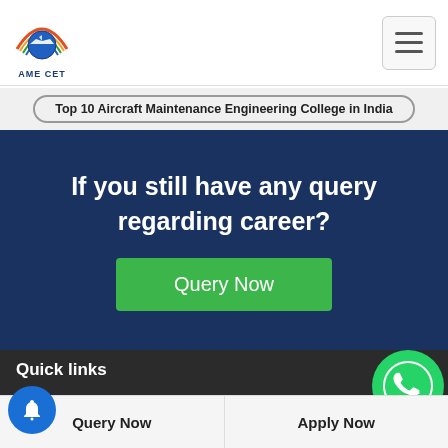[Figure (logo): AME CET logo with circular emblem showing airplane and rainbow arc, with text AME CET below]
[Figure (other): Hamburger menu button (three horizontal lines) in a rounded square border]
Top 10 Aircraft Maintenance Engineering College in India
If you still have any query regarding career?
Query Now
Quick links
Home
About Us
Query Now
Apply Now